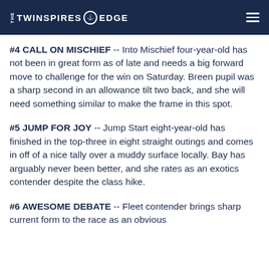THE TWINSPIRES EDGE
#4 CALL ON MISCHIEF -- Into Mischief four-year-old has not been in great form as of late and needs a big forward move to challenge for the win on Saturday. Breen pupil was a sharp second in an allowance tilt two back, and she will need something similar to make the frame in this spot.
#5 JUMP FOR JOY -- Jump Start eight-year-old has finished in the top-three in eight straight outings and comes in off of a nice tally over a muddy surface locally. Bay has arguably never been better, and she rates as an exotics contender despite the class hike.
#6 AWESOME DEBATE -- Fleet contender brings sharp current form to the race as an obvious